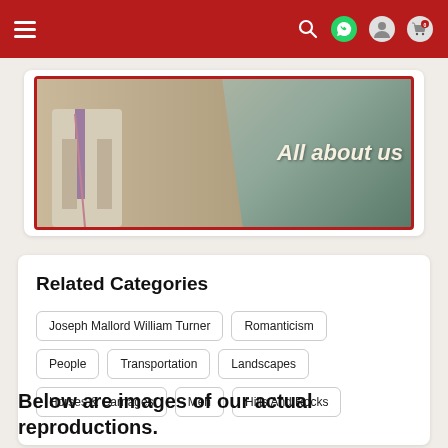[Figure (screenshot): Red navigation bar with hamburger menu icon on left and search, WhatsApp, user, and cart icons on right]
[Figure (photo): Banner image showing a man in a suit and tie in front of a chalkboard with text 'All about us', framed with a red border]
Related Categories
Joseph Mallord William Turner
Romanticism
People
Transportation
Landscapes
Horses & Carriages
Men
Hills And Rocks
Below are images of our actual reproductions.